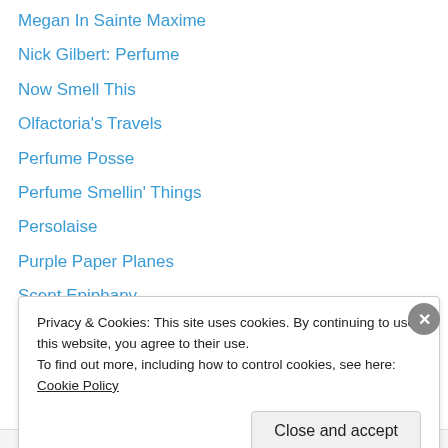Megan In Sainte Maxime
Nick Gilbert: Perfume
Now Smell This
Olfactoria's Travels
Perfume Posse
Perfume Smellin' Things
Persolaise
Purple Paper Planes
Scent Epiphany
Scent Hurdle
The Alembicated Genie
The Black Narcissus
The Candy Perfume Boy
Privacy & Cookies: This site uses cookies. By continuing to use this website, you agree to their use. To find out more, including how to control cookies, see here: Cookie Policy
Close and accept